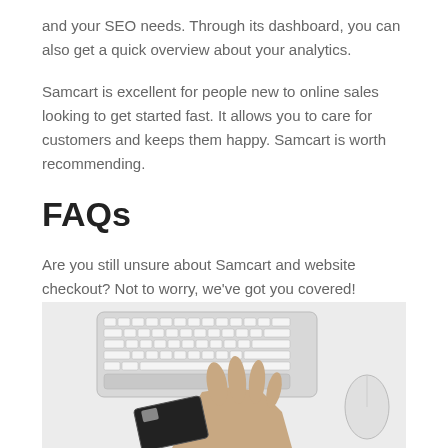and your SEO needs. Through its dashboard, you can also get a quick overview about your analytics.
Samcart is excellent for people new to online sales looking to get started fast. It allows you to care for customers and keeps them happy. Samcart is worth recommending.
FAQs
Are you still unsure about Samcart and website checkout? Not to worry, we’ve got you covered!
[Figure (photo): A hand holding a credit card near a white Apple keyboard, with a white computer mouse visible on the right, all on a light gray surface.]